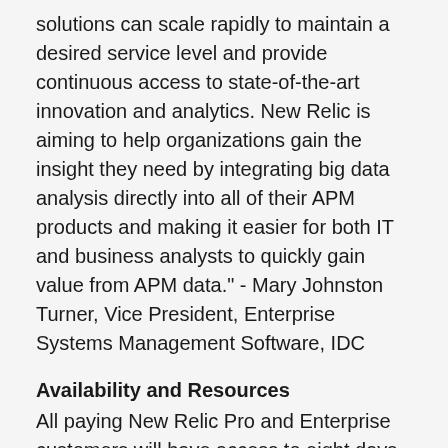solutions can scale rapidly to maintain a desired service level and provide continuous access to state-of-the-art innovation and analytics. New Relic is aiming to help organizations gain the insight they need by integrating big data analysis directly into all of their APM products and making it easier for both IT and business analysts to quickly gain value from APM data." - Mary Johnston Turner, Vice President, Enterprise Systems Management Software, IDC
Availability and Resources
All paying New Relic Pro and Enterprise customers will have access to eight days of trailing event data to analyze and benchmark their application performance with New Relic